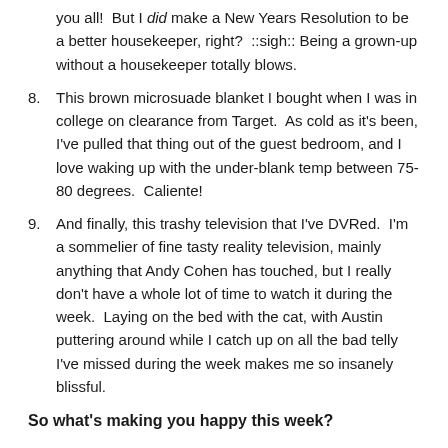you all!  But I did make a New Years Resolution to be a better housekeeper, right?  ::sigh:: Being a grown-up without a housekeeper totally blows.
8. This brown microsuade blanket I bought when I was in college on clearance from Target.  As cold as it's been, I've pulled that thing out of the guest bedroom, and I love waking up with the under-blank temp between 75-80 degrees.  Caliente!
9. And finally, this trashy television that I've DVRed.  I'm a sommelier of fine tasty reality television, mainly anything that Andy Cohen has touched, but I really don't have a whole lot of time to watch it during the week.  Laying on the bed with the cat, with Austin puttering around while I catch up on all the bad telly I've missed during the week makes me so insanely blissful.
So what's making you happy this week?